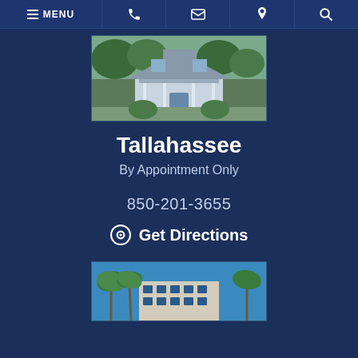MENU | phone | email | location | search
[Figure (photo): Exterior photo of a white Victorian-style house with columns and trees in Tallahassee]
Tallahassee
By Appointment Only
850-201-3655
Get Directions
[Figure (photo): Exterior photo of a modern building with palm trees in the foreground, partially visible]